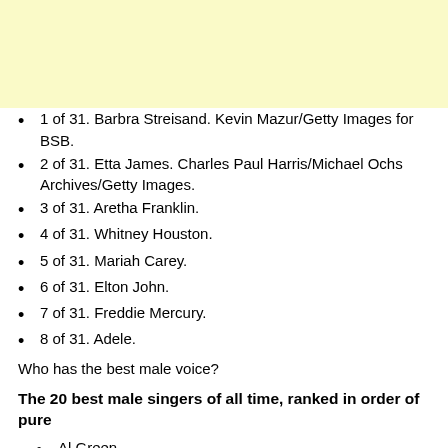[Figure (other): Yellow/cream colored header banner at top of page]
1 of 31. Barbra Streisand. Kevin Mazur/Getty Images for BSB.
2 of 31. Etta James. Charles Paul Harris/Michael Ochs Archives/Getty Images.
3 of 31. Aretha Franklin.
4 of 31. Whitney Houston.
5 of 31. Mariah Carey.
6 of 31. Elton John.
7 of 31. Freddie Mercury.
8 of 31. Adele.
Who has the best male voice?
The 20 best male singers of all time, ranked in order of pure
Al Green.
Sam Cooke.
Otis Redding